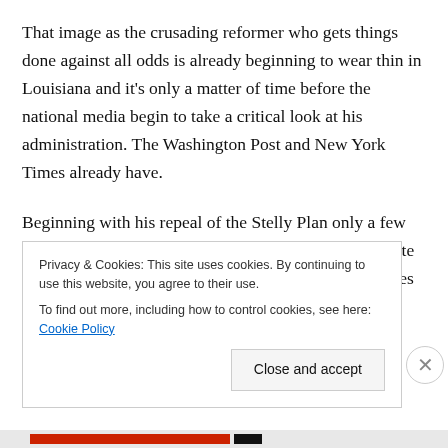That image as the crusading reformer who gets things done against all odds is already beginning to wear thin in Louisiana and it's only a matter of time before the national media begin to take a critical look at his administration. The Washington Post and New York Times already have.
Beginning with his repeal of the Stelly Plan only a few months into his first term—the move is costing the state about $300 million a year while benefiting only couples earning more than $150,000 per year or individuals earning more than $300,000...
Privacy & Cookies: This site uses cookies. By continuing to use this website, you agree to their use. To find out more, including how to control cookies, see here: Cookie Policy
Close and accept